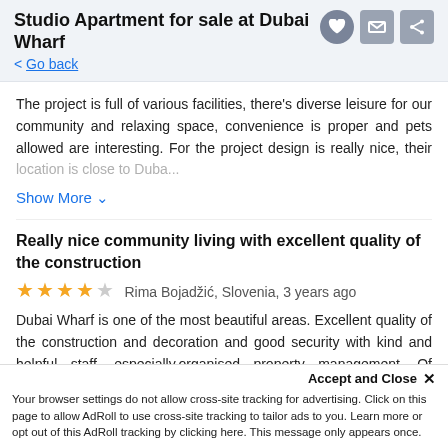Studio Apartment for sale at Dubai Wharf
< Go back
The project is full of various facilities, there's diverse leisure for our community and relaxing space, convenience is proper and pets allowed are interesting. For the project design is really nice, their location is close to Duba...
Show More ∨
Really nice community living with excellent quality of the construction
★★★★☆ Rima Bojadžić, Slovenia, 3 years ago
Dubai Wharf is one of the most beautiful areas. Excellent quality of the construction and decoration and good security with kind and helpful staff, especially,organised property management. Of course, there are some pets here but was still clean. Really nice community living with a creek and a shop...
Accept and Close ✕ Your browser settings do not allow cross-site tracking for advertising. Click on this page to allow AdRoll to use cross-site tracking to tailor ads to you. Learn more or opt out of this AdRoll tracking by clicking here. This message only appears once.